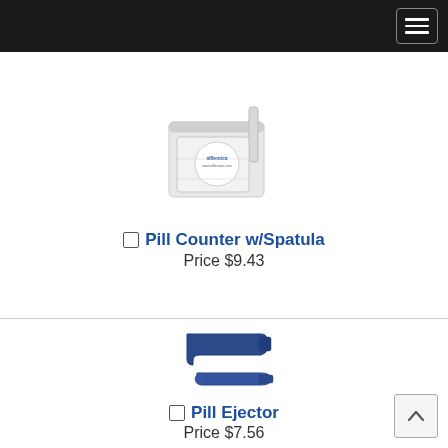[Figure (photo): White plastic pill counter tray with spatula attachment and branded circular label]
Pill Counter w/Spatula
Price $9.43
[Figure (photo): Blue plastic pill ejector tool shown in two parts: top and bottom pieces]
Pill Ejector
Price $7.56